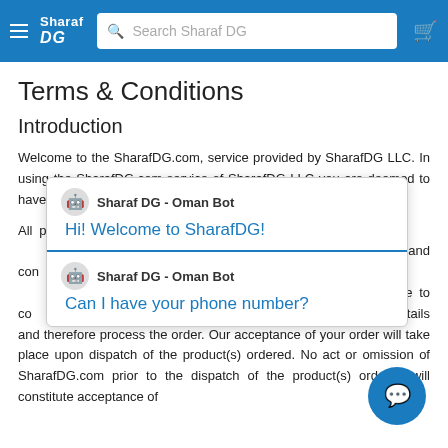Sharaf DG — Search Sharaf DG header with cart icon
Terms & Conditions
Introduction
Welcome to the SharafDG.com, service provided by SharafDG LLC. In using the SharafDG.com service of SharafDG LLC you are deemed to have accepted the terms and conditions listed below.
All products/s... SharafDG.com... purchase cons... terms and con... right to accep... your valid ema... possible to co... confirm details and therefore process the order. Our acceptance of your order will take place upon dispatch of the product(s) ordered. No act or omission of SharafDG.com prior to the dispatch of the product(s) ordered will constitute acceptance of
[Figure (screenshot): Chat overlay showing two Sharaf DG - Oman Bot messages: 'Hi! Welcome to SharafDG!' and 'Can I have your phone number?']